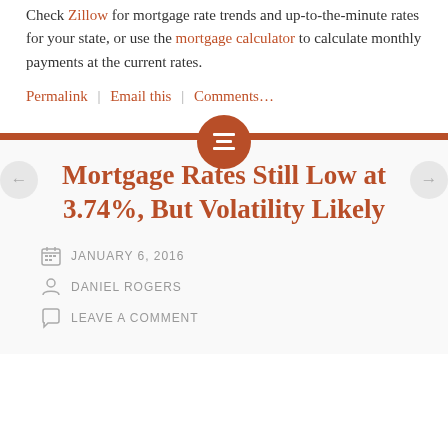Check Zillow for mortgage rate trends and up-to-the-minute rates for your state, or use the mortgage calculator to calculate monthly payments at the current rates.
Permalink | Email this | Comments...
Mortgage Rates Still Low at 3.74%, But Volatility Likely
JANUARY 6, 2016
DANIEL ROGERS
LEAVE A COMMENT